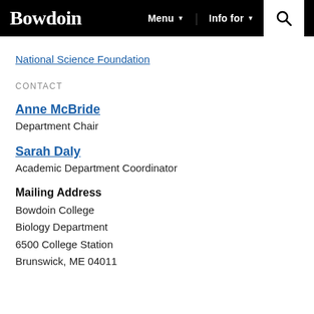Bowdoin | Menu | Info for
National Science Foundation
CONTACT
Anne McBride
Department Chair
Sarah Daly
Academic Department Coordinator
Mailing Address
Bowdoin College
Biology Department
6500 College Station
Brunswick, ME 04011